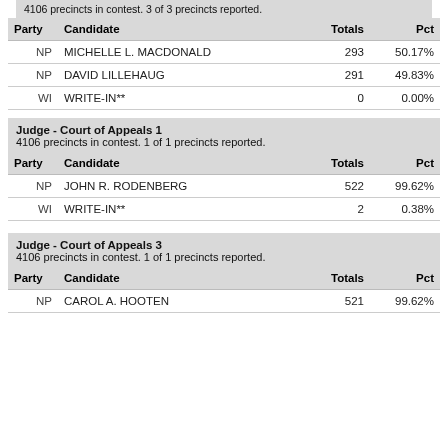4106 precincts in contest. 3 of 3 precincts reported.
| Party | Candidate | Totals | Pct |
| --- | --- | --- | --- |
| NP | MICHELLE L. MACDONALD | 293 | 50.17% |
| NP | DAVID LILLEHAUG | 291 | 49.83% |
| WI | WRITE-IN** | 0 | 0.00% |
Judge - Court of Appeals 1
4106 precincts in contest. 1 of 1 precincts reported.
| Party | Candidate | Totals | Pct |
| --- | --- | --- | --- |
| NP | JOHN R. RODENBERG | 522 | 99.62% |
| WI | WRITE-IN** | 2 | 0.38% |
Judge - Court of Appeals 3
4106 precincts in contest. 1 of 1 precincts reported.
| Party | Candidate | Totals | Pct |
| --- | --- | --- | --- |
| NP | CAROL A. HOOTEN | 521 | 99.62% |